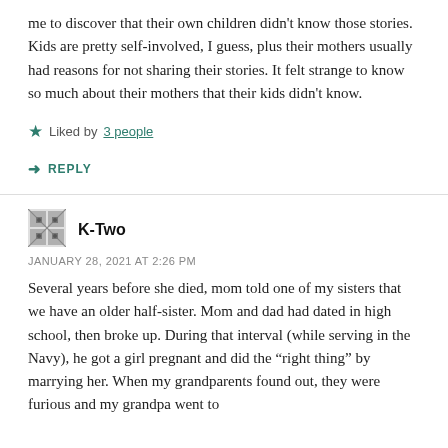me to discover that their own children didn't know those stories. Kids are pretty self-involved, I guess, plus their mothers usually had reasons for not sharing their stories. It felt strange to know so much about their mothers that their kids didn't know.
Liked by 3 people
REPLY
K-Two
JANUARY 28, 2021 AT 2:26 PM
Several years before she died, mom told one of my sisters that we have an older half-sister. Mom and dad had dated in high school, then broke up. During that interval (while serving in the Navy), he got a girl pregnant and did the “right thing” by marrying her. When my grandparents found out, they were furious and my grandpa went to